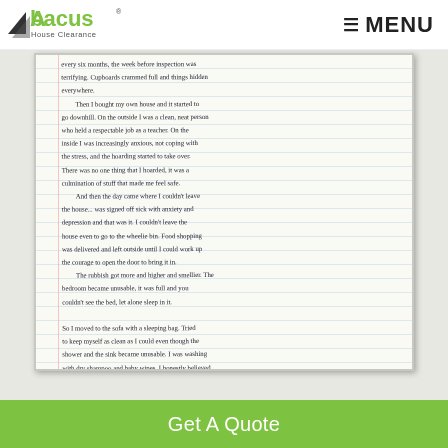[Figure (logo): Abacus House Clearance logo — black triangle/arrow shape with green 'Abacus' text and 'House Clearance' subtitle]
≡ MENU
[Figure (photo): Photograph of a handwritten letter on lined paper describing personal experience with hoarding disorder, anxiety, depression, ambulance call, and psychiatric unit admission. Text includes: 'every six months, the week before inspection was terrifying. Cupboards crammed full and things hidden everywhere. Then I bought my own house and it started to go downhill. On the outside I was a clean, neat person who held a respectable job as a teacher. On the inside I was increasingly anxious, not coping with the stress, and the hoarding started to take over. There was no one thing that I hoarded, it was a culmination of stuff that made me feel safe. And then the day came where I couldn't leave the house... was signed off sick with anxiety and depression and that was it. I couldn't leave the house even to go to the wheelie bin. Food shopping was delivered and left outside until I could work up the courage to open the door to bring it in. The rubbish got more and higher and smellier. The bedroom became unusable, it was full and you couldn't see the bed, let alone sleep in it. So I moved to the sofa with a sleeping bag. Tried to keep myself as clean as I could even though the shower and the sink became unusable. I was washing with dry shampoo and baby wipes. I honestly believed I would never get out and never get my house back, it was too far gone. The day I decided to kill myself was the day I phoned an ambulance and got them to come and get me. The ambulance drivers, which recoiled at the smell and had to rotate me to get me out of the house. I was admitted under section to a psychiatric unit where I would spend the next 6 months.']
Get A Quote